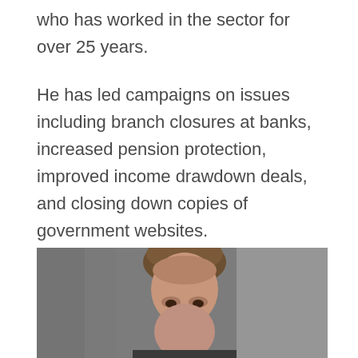who has worked in the sector for over 25 years.
He has led campaigns on issues including branch closures at banks, increased pension protection, improved income drawdown deals, and closing down copies of government websites.
[Figure (photo): Portrait photo of a middle-aged man with short brown hair, photographed from approximately chest level, against a blurred grey background.]